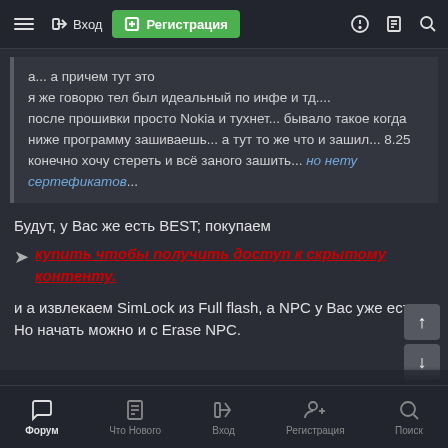Вход | Регистрация
а... а причем тут это
я же говорю тел был идеальный по инфе и тд....
после прошивки просто Nokia и тухнет... бывало такое когда ниже программу зашиваешь... а тут то же что и зашил... 8.25 конечно хочу стереть и всё заного зашить... но нету сертефикатов...
Будут, у Вас же есть BEST; покупаем
➤ купить чтобы получить доступ к скрытому контенту.
и а извлекаем SimLock из Full flash, а NPC у Вас уже есть Но начать можно и с Erase NPC.
Форум | Что Нового | Вход | Регистрация | Поиск